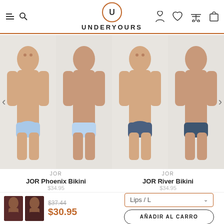UNDERYOURS
[Figure (photo): Four male models wearing underwear briefs — two on left in light blue Phoenix Bikini (front and back views), two on right in navy blue River Bikini (front and back views). Navigation arrows on left and right sides.]
JOR
JOR Phoenix Bikini
$34.95
JOR
JOR River Bikini
$34.95
[Figure (photo): Two small thumbnail images of underwear products in dark red/maroon color]
$37.44
$30.95
Lips / L
AÑADIR AL CARRO